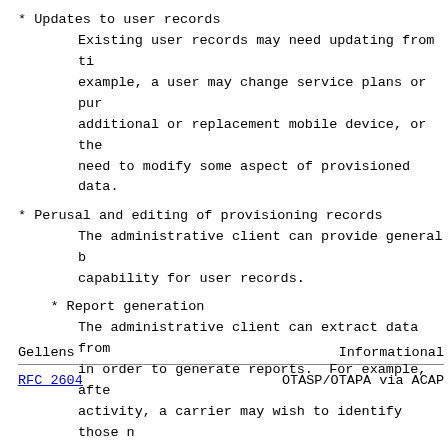* Updates to user records
Existing user records may need updating from time to example, a user may change service plans or purchase additional or replacement mobile device, or the need to modify some aspect of provisioned data.
* Perusal and editing of provisioning records
The administrative client can provide general browsing capability for user records.
Gellens                         Informational
RFC 2604                    OTASP/OTAPA via ACAP
* Report generation
The administrative client can extract data from in order to generate reports. For example, after activity, a carrier may wish to identify those m